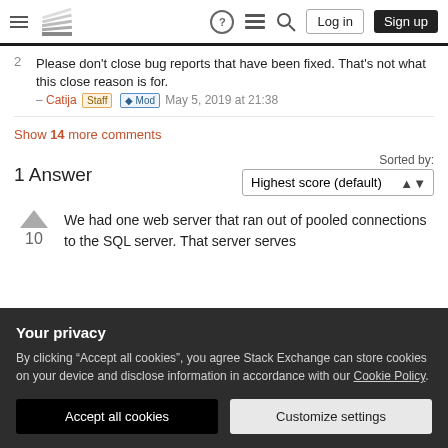Stack Exchange navigation header with hamburger menu, logo, help, chat, search icons, Log in and Sign up buttons
2 Please don't close bug reports that have been fixed. That's not what this close reason is for. – Catija Staff ◆Mod May 5, 2019 at 21:38
Show 14 more comments
1 Answer
Sorted by: Highest score (default)
We had one web server that ran out of pooled connections to the SQL server. That server serves
Your privacy
By clicking "Accept all cookies", you agree Stack Exchange can store cookies on your device and disclose information in accordance with our Cookie Policy.
Accept all cookies   Customize settings